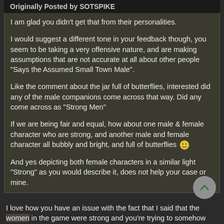Originally Posted by SOTSPIKE
I am glad you didn't get that from their personalities.
I would suggest a different tone in your feedback though, you seem to be taking a very offensive nature, and are making assumptions that are not accurate at all about other people "Says the Assumed Small Town Male".
Like the comment about the jar full of butterflies, interested did any of the male companions come across that way. Did any come across as "Strong Men"
If we are being fair and equal, how about one male & female character who are strong, and another male and female character all bubbly and bright, and full of butterflies 🙂
And yes depicting both female characters in a similar light "Strong" as you would describe it, does not help your case or mine.
I love how you have an issue with the fact that I said that the women in the game were strong and you're trying to somehow devalue that by putting the word in quotations because you wouldn't describe them that